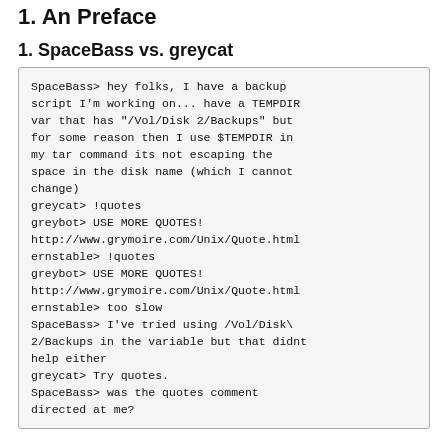1. An Preface
1. SpaceBass vs. greycat
SpaceBass> hey folks, I have a backup script I'm working on... have a TEMPDIR var that has "/Vol/Disk 2/Backups" but for some reason then I use $TEMPDIR in my tar command its not escaping the space in the disk name (which I cannot change)
greycat> !quotes
greybot> USE MORE QUOTES! http://www.grymoire.com/Unix/Quote.html
ernstable> !quotes
greybot> USE MORE QUOTES! http://www.grymoire.com/Unix/Quote.html
ernstable> too slow
SpaceBass> I've tried using /Vol/Disk\ 2/Backups in the variable but that didnt help either
greycat> Try quotes.
SpaceBass> was the quotes comment directed at me?